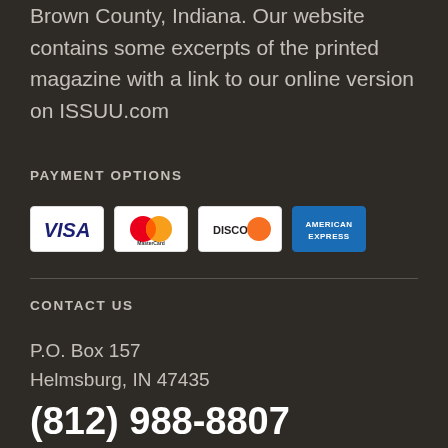Brown County, Indiana. Our website contains some excerpts of the printed magazine with a link to our online version on ISSUU.com
PAYMENT OPTIONS
[Figure (other): Payment method icons: Visa, MasterCard, Discover, American Express]
CONTACT US
P.O. Box 157
Helmsburg, IN 47435
(812) 988-8807